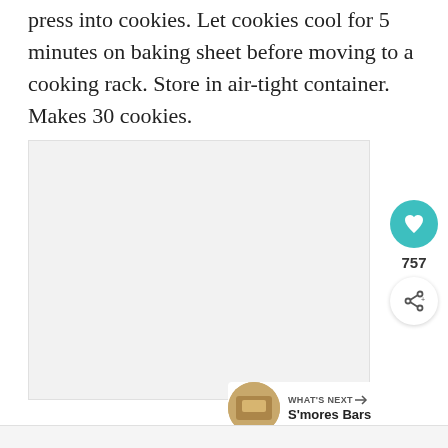press into cookies. Let cookies cool for 5 minutes on baking sheet before moving to a cooking rack. Store in air-tight container. Makes 30 cookies.
[Figure (photo): A large light gray placeholder image area, occupying most of the middle section of the page, representing a photo of cookies or baked goods.]
[Figure (infographic): Social sidebar with a teal heart/like button showing 757 likes, and a share button below it.]
WHAT'S NEXT → S'mores Bars